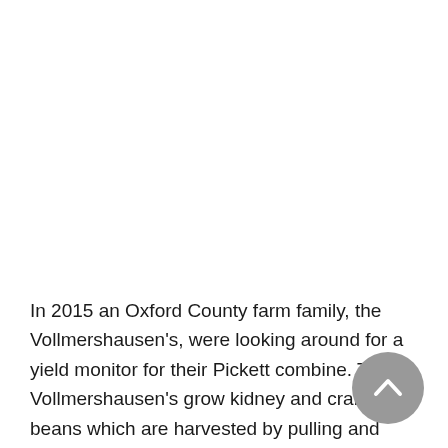In 2015 an Oxford County farm family, the Vollmershausen's, were looking around for a yield monitor for their Pickett combine. The Vollmershausen's grow kidney and cranberry beans which are harvested by pulling and windrowing, then picked up and threshed by a Pickett combine...